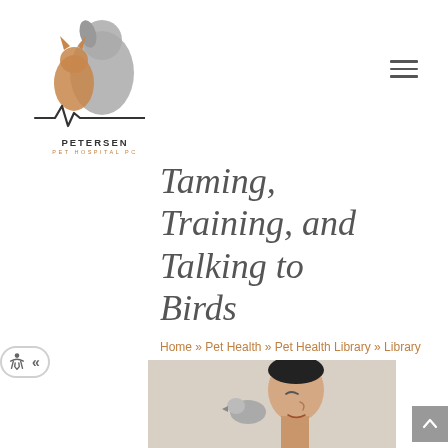[Figure (logo): Petersen Pet Hospital PC logo featuring silhouettes of a cat and dog with a heartbeat line, with text PETERSEN PET HOSPITAL PC below]
Taming, Training, and Talking to Birds
Home » Pet Health » Pet Health Library » Library
[Figure (photo): Photo of a person with a bird, partially visible at the bottom of the page]